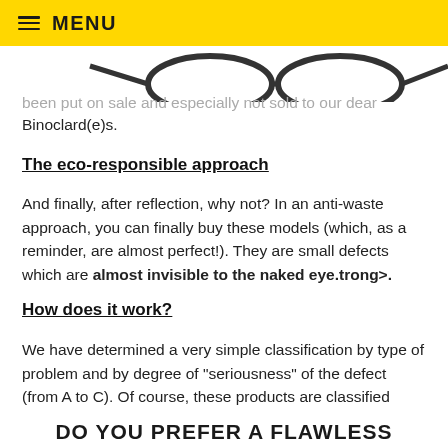MENU
[Figure (illustration): Partial image of eyeglasses/binoculars logo at the top of the content area]
been put on sale and especially not sold to our dear Binoclard(e)s.
The eco-responsible approach
And finally, after reflection, why not? In an anti-waste approach, you can finally buy these models (which, as a reminder, are almost perfect!). They are small defects which are almost invisible to the naked eye.trong>.
How does it work?
We have determined a very simple classification by type of problem and by degree of "seriousness" of the defect (from A to C). Of course, these products are classified transparently!
DO YOU PREFER A FLAWLESS